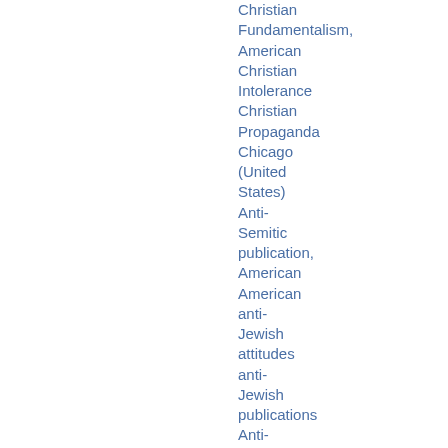Christian Fundamentalism,
American Christian Intolerance
Christian Propaganda
Chicago (United States)
Anti-Semitic publication, American
American anti-Jewish attitudes
anti-Jewish publications
Anti-Jewish propaganda, American
Anti-Fascist publication, American
Anti-Zionist publications,